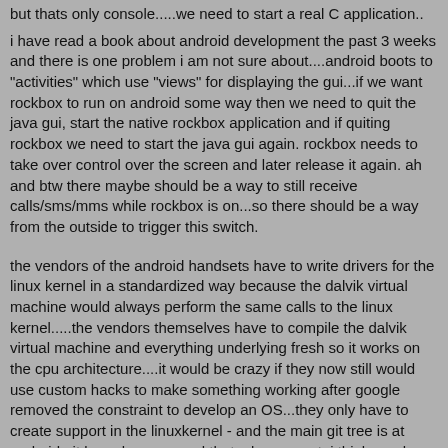but thats only console.....we need to start a real C application..
i have read a book about android development the past 3 weeks and there is one problem i am not sure about....android boots to "activities" which use "views" for displaying the gui...if we want rockbox to run on android some way then we need to quit the java gui, start the native rockbox application and if quiting rockbox we need to start the java gui again. rockbox needs to take over control over the screen and later release it again. ah and btw there maybe should be a way to still receive calls/sms/mms while rockbox is on...so there should be a way from the outside to trigger this switch.
the vendors of the android handsets have to write drivers for the linux kernel in a standardized way because the dalvik virtual machine would always perform the same calls to the linux kernel.....the vendors themselves have to compile the dalvik virtual machine and everything underlying fresh so it works on the cpu architecture....it would be crazy if they now still would use custom hacks to make something working after google removed the constraint to develop an OS...they only have to create support in the linuxkernel - and the main git tree is at android.git.kernel.org ..... and thats damn great. i think vendors will concentrate on provider the drivers for sensors/gps/touchscreen/whatever ....
what does this mean for rockbox? rockbox as an application for